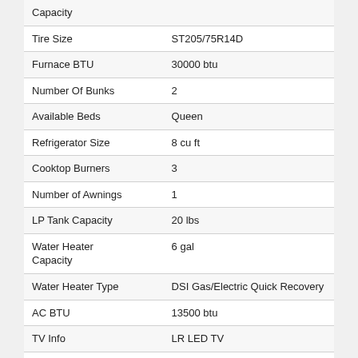| Specification | Value |
| --- | --- |
| Capacity |  |
| Tire Size | ST205/75R14D |
| Furnace BTU | 30000 btu |
| Number Of Bunks | 2 |
| Available Beds | Queen |
| Refrigerator Size | 8 cu ft |
| Cooktop Burners | 3 |
| Number of Awnings | 1 |
| LP Tank Capacity | 20 lbs |
| Water Heater Capacity | 6 gal |
| Water Heater Type | DSI Gas/Electric Quick Recovery |
| AC BTU | 13500 btu |
| TV Info | LR LED TV |
| Awning Info | 19' Electric w/Adjustable Arms & LED Light Strip |
| Axle Count | 2 |
| Number of LP Tanks | 2 |
| Shower Type | Tub/Shower Combo |